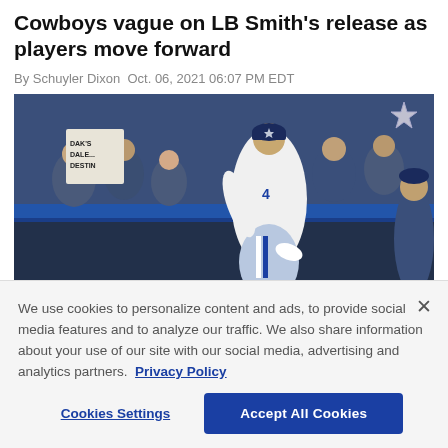Cowboys vague on LB Smith's release as players move forward
By Schuyler Dixon Oct. 06, 2021 06:07 PM EDT
[Figure (photo): Dallas Cowboys player wearing number 4 jersey and Cowboys cap running on field, fans in background holding a sign reading DAK'S DESTINY, stadium interior setting]
We use cookies to personalize content and ads, to provide social media features and to analyze our traffic. We also share information about your use of our site with our social media, advertising and analytics partners. Privacy Policy
Cookies Settings    Accept All Cookies